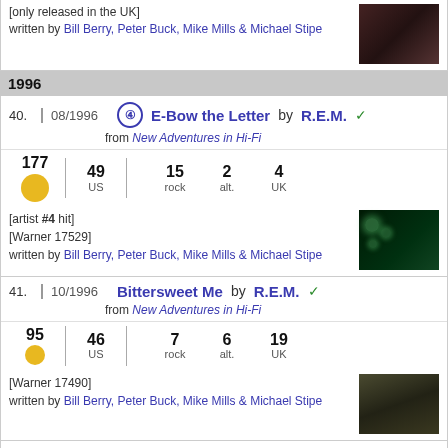[only released in the UK]
written by Bill Berry, Peter Buck, Mike Mills & Michael Stipe
1996
40. 08/1996 ④ E-Bow the Letter by R.E.M. ✓
from New Adventures in Hi-Fi
177 49 US 15 rock 2 alt. 4 UK
[artist #4 hit]
[Warner 17529]
written by Bill Berry, Peter Buck, Mike Mills & Michael Stipe
41. 10/1996 Bittersweet Me by R.E.M. ✓
from New Adventures in Hi-Fi
95 46 US 7 rock 6 alt. 19 UK
[Warner 17490]
written by Bill Berry, Peter Buck, Mike Mills & Michael Stipe
42. 10/1996 Everybody Hurts by R.E.M. ✓
2 180 UK